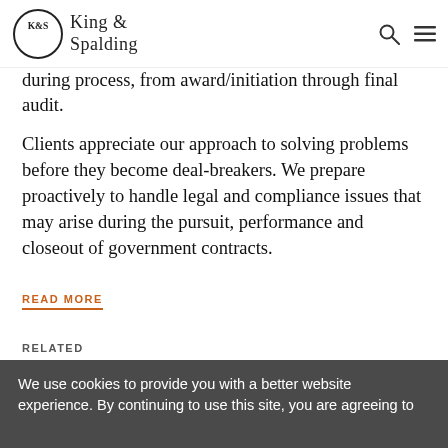King & Spalding
…during the performance process, from award/initiation through final audit.
Clients appreciate our approach to solving problems before they become deal-breakers. We prepare proactively to handle legal and compliance issues that may arise during the pursuit, performance and closeout of government contracts.
READ MORE
RELATED
We use cookies to provide you with a better website experience. By continuing to use this site, you are agreeing to